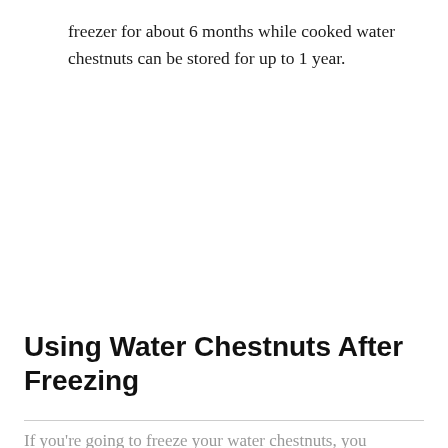freezer for about 6 months while cooked water chestnuts can be stored for up to 1 year.
Using Water Chestnuts After Freezing
If you're going to freeze your water chestnuts, you